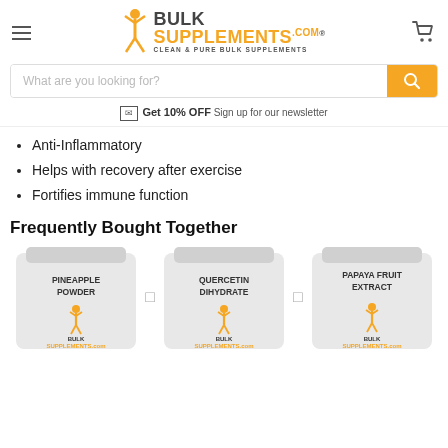[Figure (logo): BulkSupplements.com logo with orange figure, menu icon and cart icon]
[Figure (screenshot): Search bar with placeholder text 'What are you looking for?' and orange search button]
Get 10% OFF Sign up for our newsletter
Anti-Inflammatory
Helps with recovery after exercise
Fortifies immune function
Frequently Bought Together
[Figure (photo): Three BulkSupplements.com product bags: Pineapple Powder, Quercetin Dihydrate, Papaya Fruit Extract, separated by plus signs]